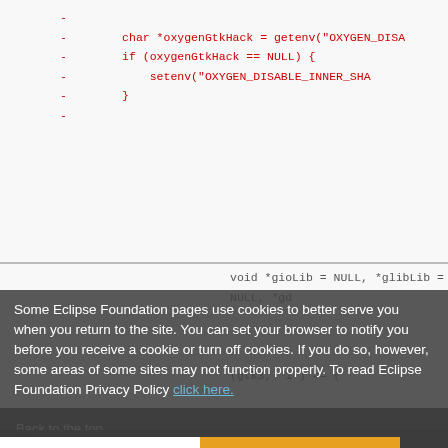[Figure (screenshot): Code diff view showing removed lines (in red) with minus signs, including char *oxygenGtkHack, if conditions, setenv calls, and void pointer declarations. Also shows dlopen calls for GDK3 and GTK3 libraries, a bugzilla URL, gdkCoreDeviceEvents getenv, setenv GDK_CORE_DEVICE_E, and more code below the cookie overlay.]
Some Eclipse Foundation pages use cookies to better serve you when you return to the site. You can set your browser to notify you before you receive a cookie or turn off cookies. If you do so, however, some areas of some sites may not function properly. To read Eclipse Foundation Privacy Policy click here.
Decline
Allow cookies
Back to the top